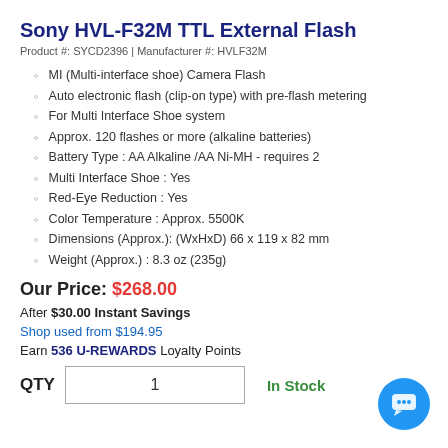Sony HVL-F32M TTL External Flash
Product #: SYCD2396 | Manufacturer #: HVLF32M
MI (Multi-interface shoe) Camera Flash
Auto electronic flash (clip-on type) with pre-flash metering
For Multi Interface Shoe system
Approx. 120 flashes or more (alkaline batteries)
Battery Type : AA Alkaline /AA Ni-MH - requires 2
Multi Interface Shoe : Yes
Red-Eye Reduction : Yes
Color Temperature : Approx. 5500K
Dimensions (Approx.): (WxHxD) 66 x 119 x 82 mm
Weight (Approx.) : 8.3 oz (235g)
Our Price: $268.00
After $30.00 Instant Savings
Shop used from $194.95
Earn 536 U-REWARDS Loyalty Points
QTY  1  In Stock